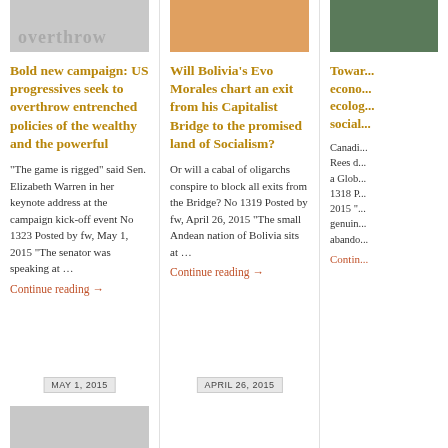[Figure (photo): Gray banner image with text 'overthrow']
Bold new campaign: US progressives seek to overthrow entrenched policies of the wealthy and the powerful
“The game is rigged” said Sen. Elizabeth Warren in her keynote address at the campaign kick-off event No 1323 Posted by fw, May 1, 2015 “The senator was speaking at …
Continue reading →
MAY 1, 2015
[Figure (photo): Photo of people at a table with red surface]
Will Bolivia’s Evo Morales chart an exit from his Capitalist Bridge to the promised land of Socialism?
Or will a cabal of oligarchs conspire to block all exits from the Bridge? No 1319 Posted by fw, April 26, 2015 “The small Andean nation of Bolivia sits at …
Continue reading →
APRIL 26, 2015
[Figure (photo): Small green/nature thumbnail image]
Towar... econo... ecolog... social...
Canadi... Rees d... a Glob... 1318 P... 2015 “... genuin... abando...
Contin...